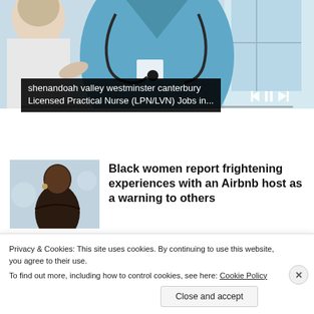[Figure (photo): Video player showing a nurse in blue scrubs with stethoscope attending to an elderly patient. Video controls (previous, pause, next) visible at bottom right. Progress bar at bottom.]
shenandoah valley westminster canterbury Licensed Practical Nurse (LPN/LVN) Jobs in...
[Figure (photo): Thumbnail image of a Black woman with a serious expression, light blue blurred background.]
Black women report frightening experiences with an Airbnb host as a warning to others
Privacy & Cookies: This site uses cookies. By continuing to use this website, you agree to their use.
To find out more, including how to control cookies, see here: Cookie Policy